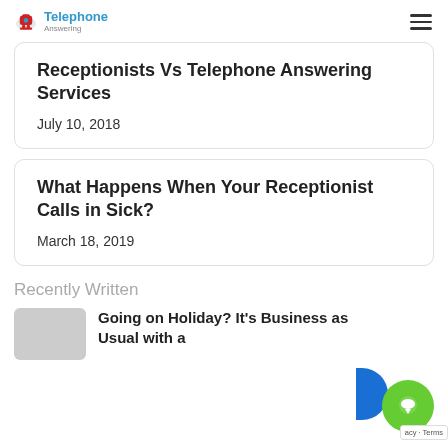Telephone Answering
Receptionists Vs Telephone Answering Services
July 10, 2018
What Happens When Your Receptionist Calls in Sick?
March 18, 2019
Recently Written
Going on Holiday? It's Business as Usual with a